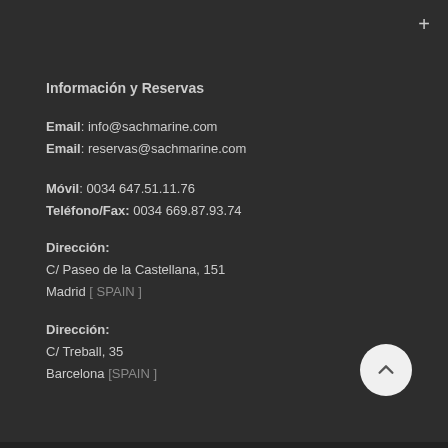Información y Reservas
Email: info@sachmarine.com
Email: reservas@sachmarine.com
Móvil: 0034 647.51.11.76
Teléfono/Fax: 0034 669.87.93.74
Dirección:
C/ Paseo de la Castellana, 151
Madrid [ SPAIN ]
Dirección:
C/ Treball, 35
Barcelona [SPAIN ]